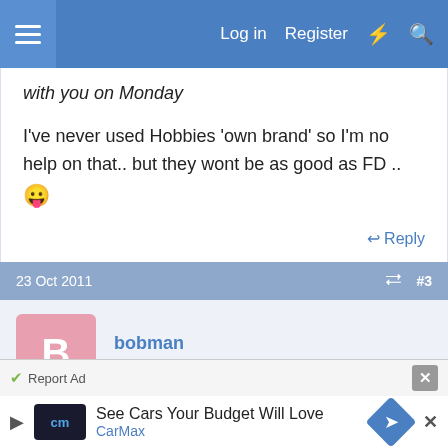Log in  Register
with you on Monday
I've never used Hobbies 'own brand' so I'm no help on that.. but they wont be as good as FD .. 😛
↩ Reply
23 Oct 2011  #3
bobman
Established Member
hi geoff i use the hobbies niqua blades all the time i also use flying dutchman i think the niqua ones are very good but the flying dutchman blades seem to last
Report Ad
See Cars Your Budget Will Love
CarMax